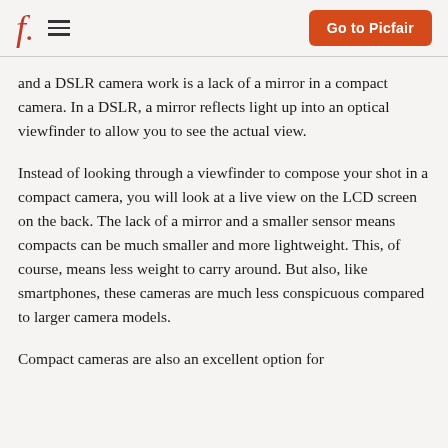f. [logo] | Go to Picfair
and a DSLR camera work is a lack of a mirror in a compact camera. In a DSLR, a mirror reflects light up into an optical viewfinder to allow you to see the actual view.
Instead of looking through a viewfinder to compose your shot in a compact camera, you will look at a live view on the LCD screen on the back. The lack of a mirror and a smaller sensor means compacts can be much smaller and more lightweight. This, of course, means less weight to carry around. But also, like smartphones, these cameras are much less conspicuous compared to larger camera models.
Compact cameras are also an excellent option for